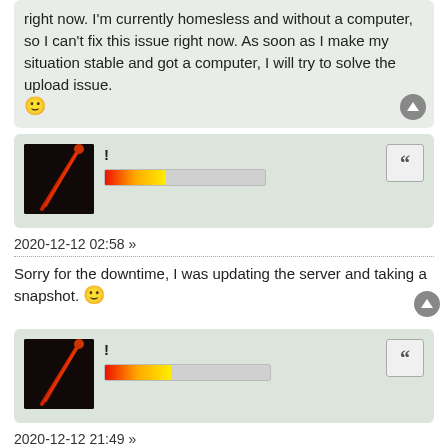right now. I'm currently homesless and without a computer, so I can't fix this issue right now. As soon as I make my situation stable and got a computer, I will try to solve the upload issue. 🙂
[Figure (screenshot): Forum user card with dark avatar, exclamation username, and progress bar]
2020-12-12 02:58 »
Sorry for the downtime, I was updating the server and taking a snapshot. 🙂
[Figure (screenshot): Forum user card with dark avatar, exclamation username, and progress bar]
2020-12-12 21:49 »